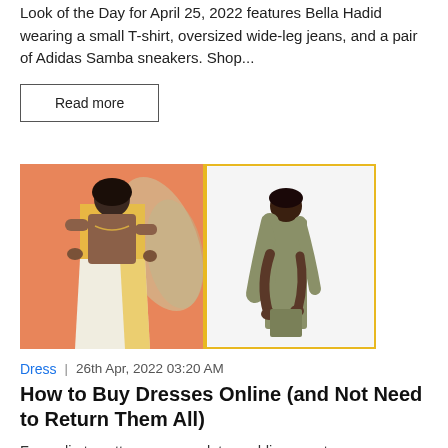Look of the Day for April 25, 2022 features Bella Hadid wearing a small T-shirt, oversized wide-leg jeans, and a pair of Adidas Samba sneakers. Shop...
Read more
[Figure (photo): Two fashion photos side by side: left shows a plus-size woman wearing a yellow and white pleated dress against an orange background with tropical leaves; right shows a slender woman in an olive/khaki sleeveless midi dress leaning forward against a white background, with a yellow border around the right image.]
Dress  |  26th Apr, 2022 03:20 AM
How to Buy Dresses Online (and Not Need to Return Them All)
From slip to cottagecore, work to wedding guest, we researched the best places to shop for dresses online, according to stylists.